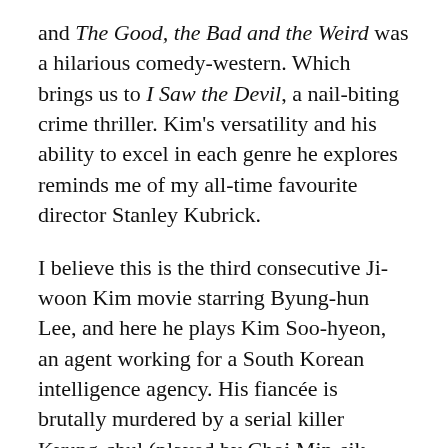and The Good, the Bad and the Weird was a hilarious comedy-western. Which brings us to I Saw the Devil, a nail-biting crime thriller. Kim's versatility and his ability to excel in each genre he explores reminds me of my all-time favourite director Stanley Kubrick.
I believe this is the third consecutive Ji-woon Kim movie starring Byung-hun Lee, and here he plays Kim Soo-hyeon, an agent working for a South Korean intelligence agency. His fiancée is brutally murdered by a serial killer Kyung-chul (played by Choi Min-sik from Oldboy), and Soo-hyeon makes it his life's purpose to track down the killer and exact a revenge that truly, and I mean truly, makes the killer feel the pain that he inflicted on his victims.
For continuity Soo-hyeon must choose Kyung-chul...